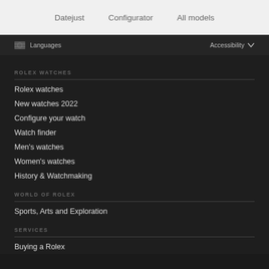Datejust  Configurator  All models
Languages  Accessibility
ROLEX WATCHES
Rolex watches
New watches 2022
Configure your watch
Watch finder
Men's watches
Women's watches
History & Watchmaking
WORLD OF ROLEX
Sports, Arts and Exploration
SERVICES
Buying a Rolex